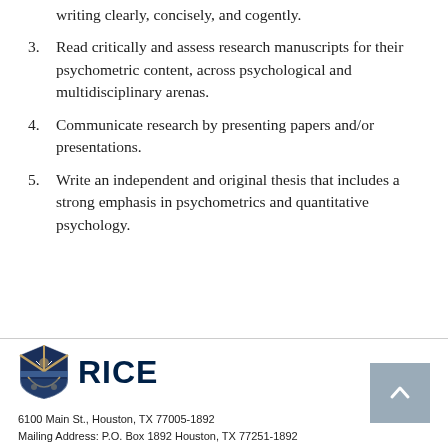writing clearly, concisely, and cogently.
3. Read critically and assess research manuscripts for their psychometric content, across psychological and multidisciplinary arenas.
4. Communicate research by presenting papers and/or presentations.
5. Write an independent and original thesis that includes a strong emphasis in psychometrics and quantitative psychology.
RICE
6100 Main St., Houston, TX 77005-1892
Mailing Address: P.O. Box 1892 Houston, TX 77251-1892